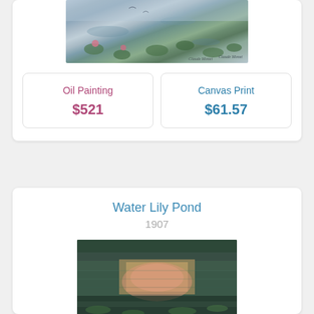[Figure (photo): Monet water lilies painting image (cropped top), showing pond with lily pads in blues and greens with pink flowers]
Oil Painting
$521
Canvas Print
$61.57
Water Lily Pond
1907
[Figure (photo): Monet Water Lily Pond 1907 painting showing reflections of trees and water lilies in greens, browns, and pinks]